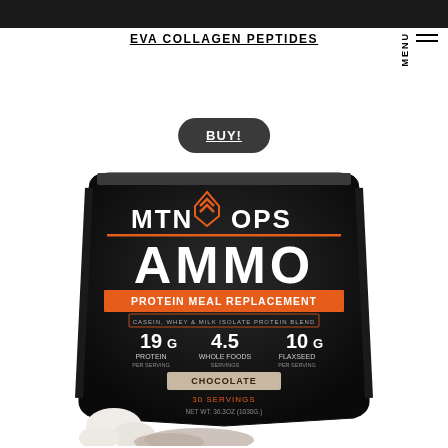EVA COLLAGEN PEPTIDES
BUY!
[Figure (photo): MTN OPS AMMO Protein Meal Replacement product bag in black with orange accents. Shows MTN OPS logo, AMMO branding, Protein Meal Replacement label, Casein Whey & Milk Isolate Protein Blend, 19g Protein, 4.5 Whole Foods Servings, 10g Flaxseed, Chocolate flavor, 30 servings, Net Wt. 36.3oz (1030g). Marshmallows and chocolate powder visible at bottom.]